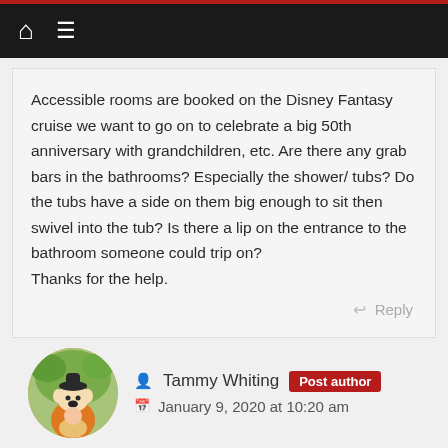Navigation bar with home and menu icons
Accessible rooms are booked on the Disney Fantasy cruise we want to go on to celebrate a big 50th anniversary with grandchildren, etc. Are there any grab bars in the bathrooms? Especially the shower/ tubs? Do the tubs have a side on them big enough to sit then swivel into the tub? Is there a lip on the entrance to the bathroom someone could trip on?
Thanks for the help.
Reply
Tammy Whiting Post author
January 9, 2020 at 10:20 am
That’s a wonderful celebration, congratulations! We did the same with my parents on the Fantasy. There are not any grab